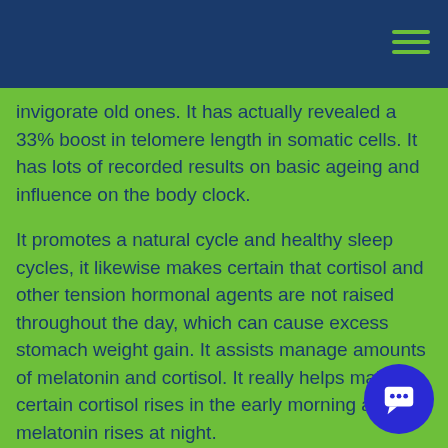invigorate old ones. It has actually revealed a 33% boost in telomere length in somatic cells. It has lots of recorded results on basic ageing and influence on the body clock.
It promotes a natural cycle and healthy sleep cycles, it likewise makes certain that cortisol and other tension hormonal agents are not raised throughout the day, which can cause excess stomach weight gain. It assists manage amounts of melatonin and cortisol. It really helps make certain cortisol rises in the early morning and melatonin rises at night.
Epithalon Nasal Spray Benefits:
Andorra Research has suggested these are the